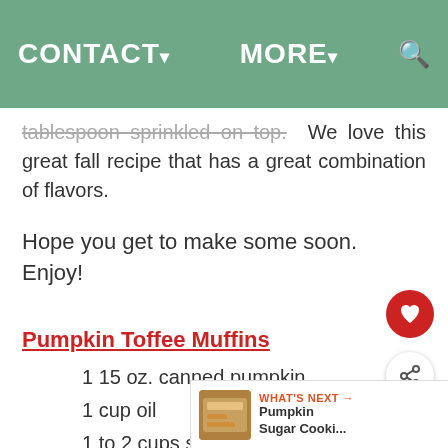CONTACT▾   MORE▾   🔍
tablespoon sprinkled on top.  We love this great fall recipe that has a great combination of flavors.
Hope you get to make some soon.  Enjoy!
Pumpkin Toffee Muffins
1 15 oz. canned pumpkin
1 cup oil
1 to 2 cups sugar (We like 2 cups but you can use 1 cup)
1 cup brown sugar